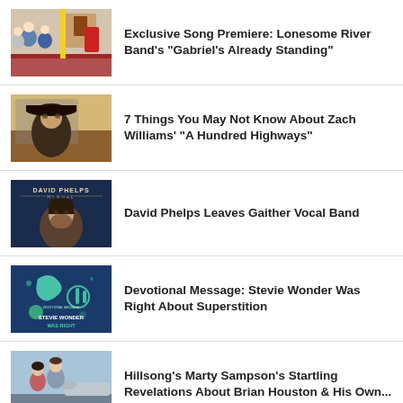Exclusive Song Premiere: Lonesome River Band's "Gabriel's Already Standing"
7 Things You May Not Know About Zach Williams' "A Hundred Highways"
David Phelps Leaves Gaither Vocal Band
Devotional Message: Stevie Wonder Was Right About Superstition
Hillsong's Marty Sampson's Startling Revelations About Brian Houston & His Own...